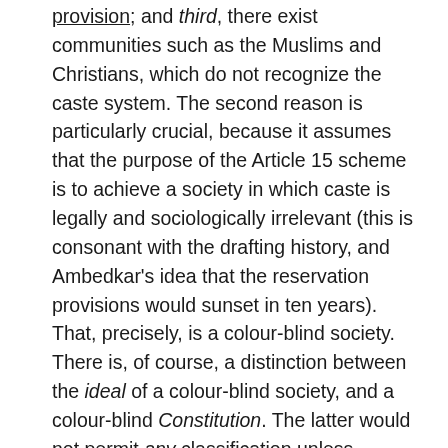provision; and third, there exist communities such as the Muslims and Christians, which do not recognize the caste system. The second reason is particularly crucial, because it assumes that the purpose of the Article 15 scheme is to achieve a society in which caste is legally and sociologically irrelevant (this is consonant with the drafting history, and Ambedkar's idea that the reservation provisions would sunset in ten years). That, precisely, is a colour-blind society. There is, of course, a distinction between the ideal of a colour-blind society, and a colour-blind Constitution. The latter would not permit any classification unless specifically authorised by a provision such as 15(4) or 16(4), whereas the latter would, conceivably, permit classification in a narrow area where such classification was a necessary step on the road to eventual colour-blindness (a number of feminist theorists, for instance, argue that while